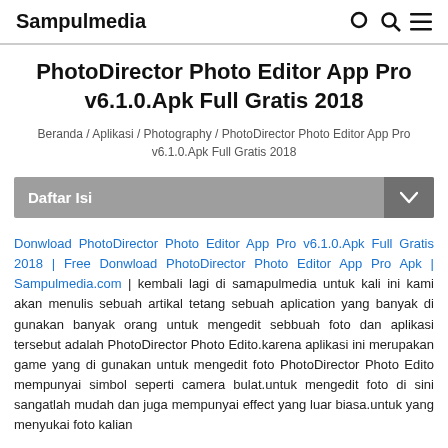Sampulmedia
PhotoDirector Photo Editor App Pro v6.1.0.Apk Full Gratis 2018
Beranda / Aplikasi / Photography / PhotoDirector Photo Editor App Pro v6.1.0.Apk Full Gratis 2018
Daftar Isi
Donwload PhotoDirector Photo Editor App Pro v6.1.0.Apk Full Gratis 2018 | Free Donwload PhotoDirector Photo Editor App Pro Apk | Sampulmedia.com | kembali lagi di samapulmedia untuk kali ini kami akan menulis sebuah artikal tetang sebuah aplication yang banyak di gunakan banyak orang untuk mengedit sebbuah foto dan aplikasi tersebut adalah PhotoDirector Photo Edito.karena aplikasi ini merupakan game yang di gunakan untuk mengedit foto PhotoDirector Photo Edito mempunyai simbol seperti camera bulat.untuk mengedit foto di sini sangatlah mudah dan juga mempunyai effect yang luar biasa.untuk yang menyukai foto kalian